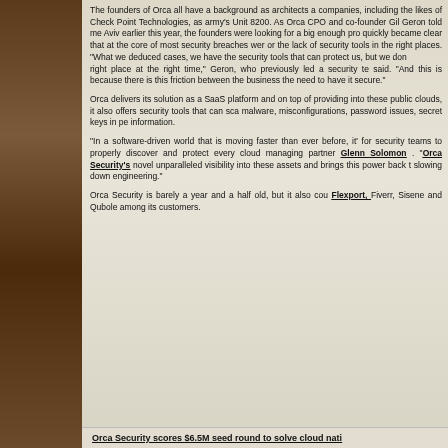The founders of Orca all have a background as architects and companies, including the likes of Check Point Technologies, as army's Unit 8200. As Orca CPO and co-founder Gil Geron told me Aviv earlier this year, the founders were looking for a big enough pro quickly became clear that at the core of most security breaches were or the lack of security tools in the right places. "What we deduced cases, we have the security tools that can protect us, but we don't right place at the right time," Geron, who previously led a security te said. "And this is because there is this friction between the business the need to have it secure."
Orca delivers its solution as a SaaS platform and on top of providing into these public clouds, it also offers security tools that can scan malware, misconfigurations, password issues, secret keys in pe information.
"In a software-driven world that is moving faster than ever before, it' for security teams to properly discover and protect every cloud managing partner Glenn Solomon . "Orca Security's novel unparalleled visibility into these assets and brings this power back to slowing down engineering."
Orca Security is barely a year and a half old, but it also counts Flexport, Fiverr, Sisene and Qubole among its customers.
Orca Security scores $6.5M seed round to solve cloud nati